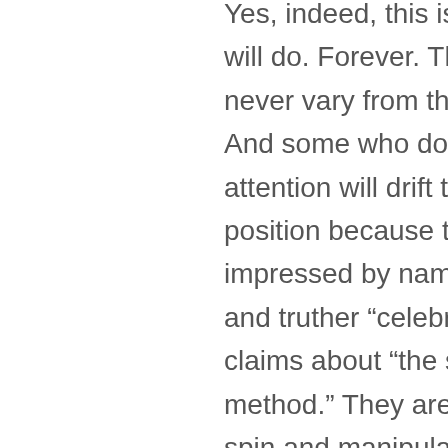Yes, indeed, this is what they will do. Forever. They will never vary from this position. And some who don't pay attention will drift to their position because they are impressed by name recognition and truther “celebrities” and claims about “the scientific method.” They are producing spin and manipulation. They will never be convinced of a different opinion. We have a decade of experience to tell us this. I am suggesting that some people are doing this not to advocate for a genuinely held